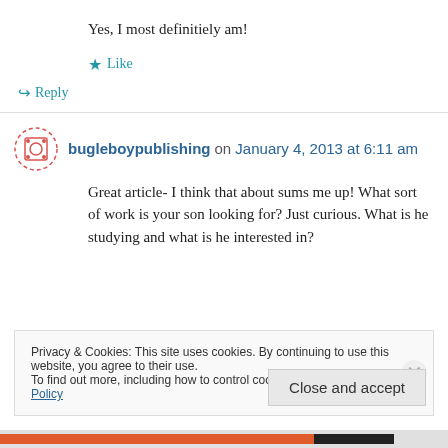Yes, I most definitiely am!
★ Like
↪ Reply
bugleboypublishing on January 4, 2013 at 6:11 am
Great article- I think that about sums me up! What sort of work is your son looking for? Just curious. What is he studying and what is he interested in?
Privacy & Cookies: This site uses cookies. By continuing to use this website, you agree to their use. To find out more, including how to control cookies, see here: Cookie Policy
Close and accept